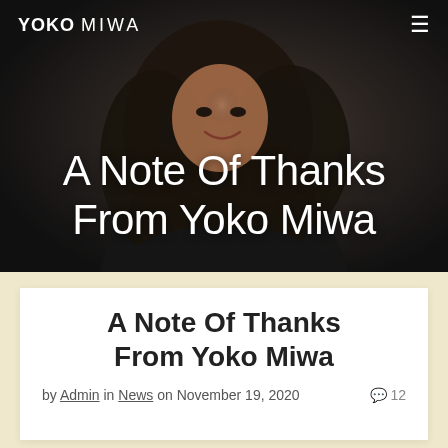YOKO MIWA
[Figure (photo): Portrait photo of Yoko Miwa, a woman with long dark wavy hair, smiling, wearing a black outfit, against a dark grey background]
A Note Of Thanks From Yoko Miwa
A Note Of Thanks From Yoko Miwa
by Admin in News on November 19, 2020  💬 12